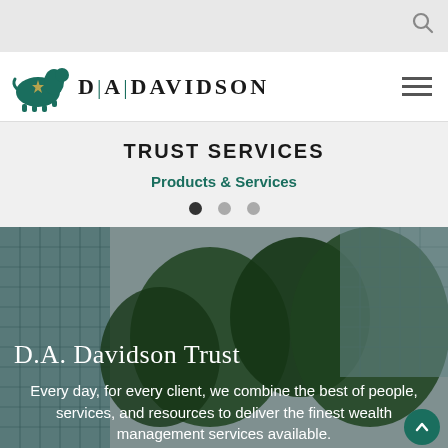Search bar (search icon)
[Figure (logo): D.A. Davidson logo with green bison/buffalo and the text D|A|DAVIDSON]
TRUST SERVICES
Products & Services
[Figure (photo): Background photo of glass office building and green trees with overlaid text: 'D.A. Davidson Trust' and 'Every day, for every client, we combine the best of people, services, and resources to deliver the finest wealth management services available.']